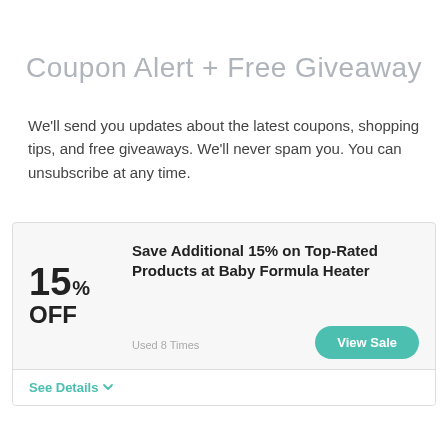Coupon Alert + Free Giveaway
We'll send you updates about the latest coupons, shopping tips, and free giveaways. We'll never spam you. You can unsubscribe at any time.
15% OFF
Save Additional 15% on Top-Rated Products at Baby Formula Heater
View Sale
Used 8 Times
See Details